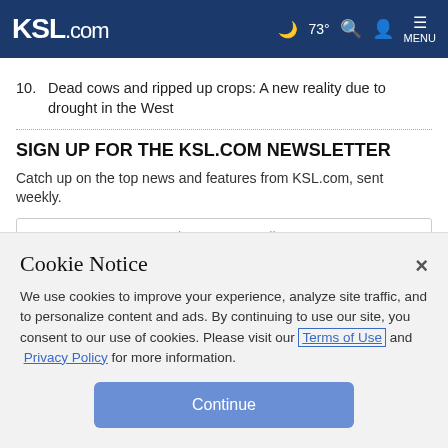KSL.com  73°  MENU
10. Dead cows and ripped up crops: A new reality due to drought in the West
SIGN UP FOR THE KSL.COM NEWSLETTER
Catch up on the top news and features from KSL.com, sent weekly.
What's your email?
Cookie Notice
We use cookies to improve your experience, analyze site traffic, and to personalize content and ads. By continuing to use our site, you consent to our use of cookies. Please visit our Terms of Use and Privacy Policy for more information.
Continue